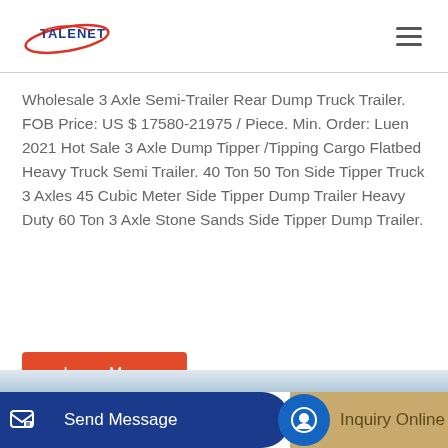TALENET
Wholesale 3 Axle Semi-Trailer Rear Dump Truck Trailer. FOB Price: US $ 17580-21975 / Piece. Min. Order: Luen 2021 Hot Sale 3 Axle Dump Tipper /Tipping Cargo Flatbed Heavy Truck Semi Trailer. 40 Ton 50 Ton Side Tipper Truck 3 Axles 45 Cubic Meter Side Tipper Dump Trailer Heavy Duty 60 Ton 3 Axle Stone Sands Side Tipper Dump Trailer.
Learn More
Send Message
Inquiry Online